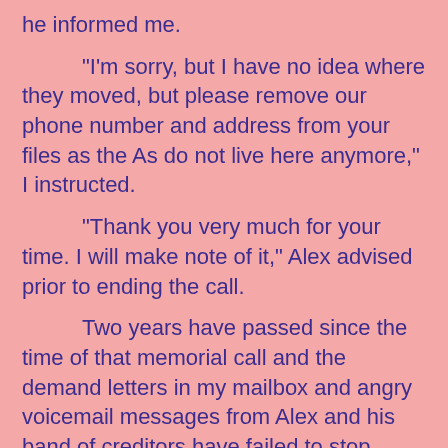he informed me.

“I’m sorry, but I have no idea where they moved, but please remove our phone number and address from your files as the As do not live here anymore,” I instructed.

“Thank you very much for your time. I will make note of it,” Alex advised prior to ending the call.

Two years have passed since the time of that memorial call and the demand letters in my mailbox and angry voicemail messages from Alex and his band of creditors have failed to stop flowing notwithstanding our sharing with them an email address for Mr. A that we had managed to track down through the neighbourhood’s underground